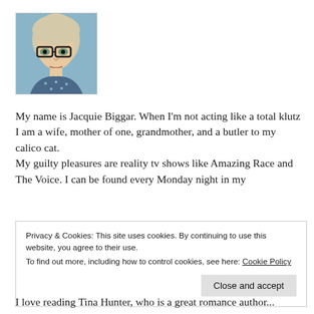[Figure (photo): Profile photo of a woman with blonde hair and dark-framed glasses, looking upward, wearing a patterned top, against a light blue background.]
My name is Jacquie Biggar. When I'm not acting like a total klutz I am a wife, mother of one, grandmother, and a butler to my calico cat.
My guilty pleasures are reality tv shows like Amazing Race and The Voice. I can be found every Monday night in my
Privacy & Cookies: This site uses cookies. By continuing to use this website, you agree to their use.
To find out more, including how to control cookies, see here: Cookie Policy
Close and accept
I love reading Tina Hunter, who is a great romance author...